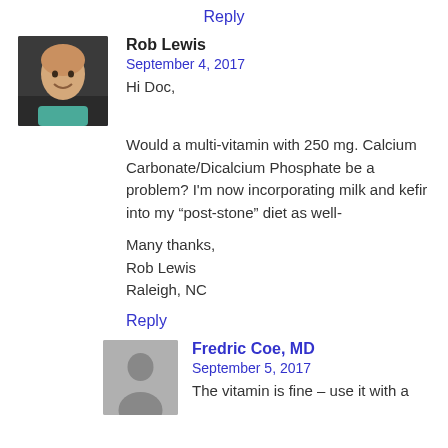Reply
[Figure (photo): Avatar photo of Rob Lewis, a bald smiling man]
Rob Lewis
September 4, 2017
Hi Doc,

Would a multi-vitamin with 250 mg. Calcium Carbonate/Dicalcium Phosphate be a problem? I'm now incorporating milk and kefir into my “post-stone” diet as well-

Many thanks,
Rob Lewis
Raleigh, NC
Reply
[Figure (photo): Generic grey avatar silhouette for Fredric Coe, MD]
Fredric Coe, MD
September 5, 2017
The vitamin is fine – use it with a